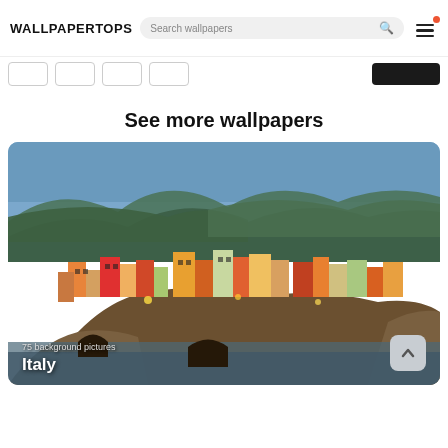WALLPAPERTOPS
Search wallpapers
[Figure (screenshot): Navigation menu icon with red notification dot and three horizontal lines (hamburger menu)]
[Figure (screenshot): Row of navigation/filter tab buttons with a dark button on the right]
See more wallpapers
[Figure (photo): Colorful cliffside Italian village (Cinque Terre / Manarola) at dusk with blue sky, illuminated multi-colored buildings stacked on rocky cliffs above the sea. Overlay text reads '75 background pictures' and 'Italy'. Scroll-to-top button in bottom right.]
75 background pictures
Italy